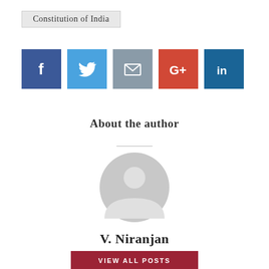Constitution of India
[Figure (infographic): Row of five social sharing buttons: Facebook (blue), Twitter (light blue), Email (grey), Google+ (red), LinkedIn (dark blue)]
About the author
[Figure (illustration): Generic grey circular avatar/profile placeholder icon]
V. Niranjan
VIEW ALL POSTS